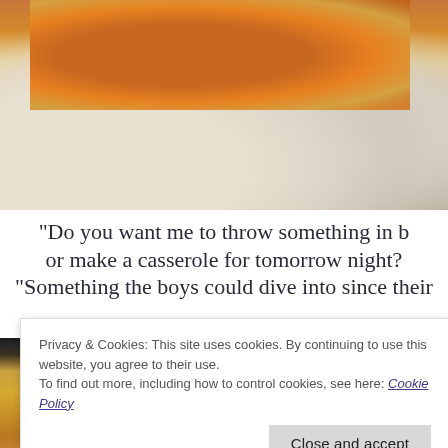[Figure (photo): Close-up photo of a food dish, appears to be a fried or baked casserole item on a white decorative plate with cream/white sauce. The top portion shows golden-brown food items on an ornate white plate.]
“Do you want me to throw something in b or make a casserole for tomorrow night? “Something the boys could dive into since their
[Figure (photo): Bottom partial photo of food dish, showing dark background at top and golden-brown casserole or baked dish at bottom.]
Privacy & Cookies: This site uses cookies. By continuing to use this website, you agree to their use.
To find out more, including how to control cookies, see here: Cookie Policy
Close and accept